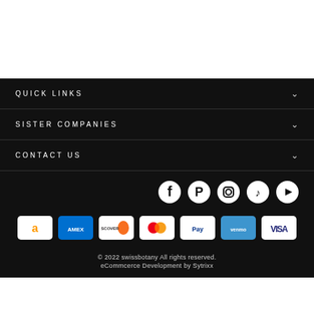QUICK LINKS
SISTER COMPANIES
CONTACT US
[Figure (other): Social media icons row: Facebook, Pinterest, Instagram, TikTok, YouTube]
[Figure (other): Payment method icons: Amazon, AMEX, Discover, Mastercard, PayPal, Venmo, Visa]
© 2022 swissbotany All rights reserved. eCommcerce Development by Sytrixx